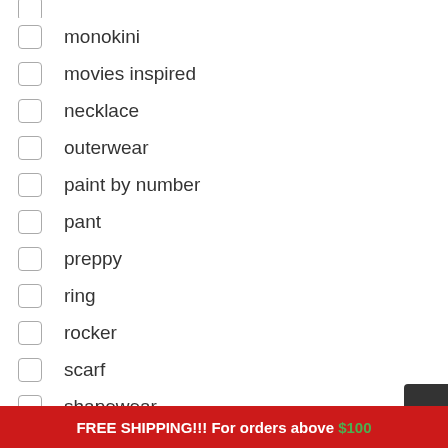monokini
movies inspired
necklace
outerwear
paint by number
pant
preppy
ring
rocker
scarf
shapewear
FREE SHIPPING!!! For orders above $100